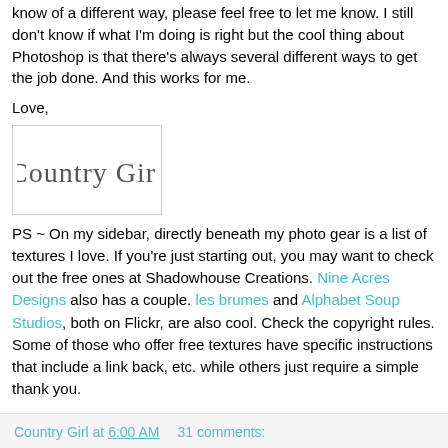know of a different way, please feel free to let me know. I still don't know if what I'm doing is right but the cool thing about Photoshop is that there's always several different ways to get the job done. And this works for me.
Love,
[Figure (illustration): Handwritten cursive signature reading 'Country Girl' inside a light gray bordered box]
PS ~ On my sidebar, directly beneath my photo gear is a list of textures I love. If you're just starting out, you may want to check out the free ones at Shadowhouse Creations. Nine Acres Designs also has a couple. les brumes and Alphabet Soup Studios, both on Flickr, are also cool. Check the copyright rules. Some of those who offer free textures have specific instructions that include a link back, etc. while others just require a simple thank you.
Country Girl at 6:00 AM   31 comments: